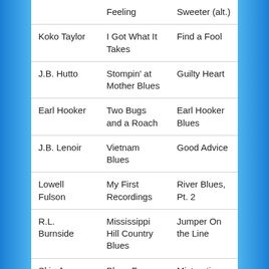| Artist | Album | Song |
| --- | --- | --- |
|  | Feeling | Sweeter (alt.) |
| Koko Taylor | I Got What It Takes | Find a Fool |
| J.B. Hutto | Stompin' at Mother Blues | Guilty Heart |
| Earl Hooker | Two Bugs and a Roach | Earl Hooker Blues |
| J.B. Lenoir | Vietnam Blues | Good Advice |
| Lowell Fulson | My First Recordings | River Blues, Pt. 2 |
| R.L. Burnside | Mississippi Hill Country Blues | Jumper On the Line |
| Skip James | Blues From the Delta | Mistreating Child Abuse |
| John Lee Hooker | Burning Hell | Key to the Highway |